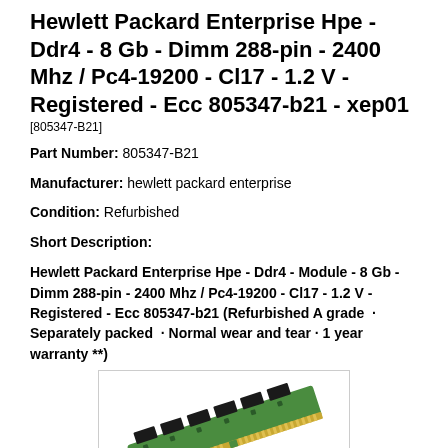Hewlett Packard Enterprise Hpe - Ddr4 - 8 Gb - Dimm 288-pin - 2400 Mhz / Pc4-19200 - Cl17 - 1.2 V - Registered - Ecc 805347-b21 - xep01
[805347-B21]
Part Number: 805347-B21
Manufacturer: hewlett packard enterprise
Condition: Refurbished
Short Description:
Hewlett Packard Enterprise Hpe - Ddr4 - Module - 8 Gb - Dimm 288-pin - 2400 Mhz / Pc4-19200 - Cl17 - 1.2 V - Registered - Ecc 805347-b21 (Refurbished A grade · Separately packed · Normal wear and tear · 1 year warranty **)
[Figure (photo): Photo of a green DDR4 RAM memory module (DIMM) with black chips on a circuit board, viewed at an angle]